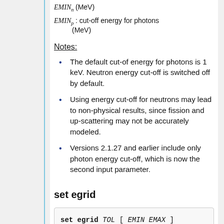Notes:
The default cut-of energy for photons is 1 keV. Neutron energy cut-off is switched off by default.
Using energy cut-off for neutrons may lead to non-physical results, since fission and up-scattering may not be accurately modeled.
Versions 2.1.27 and earlier include only photon energy cut-off, which is now the second input parameter.
set egrid
set egrid TOL [ EMIN EMAX ]